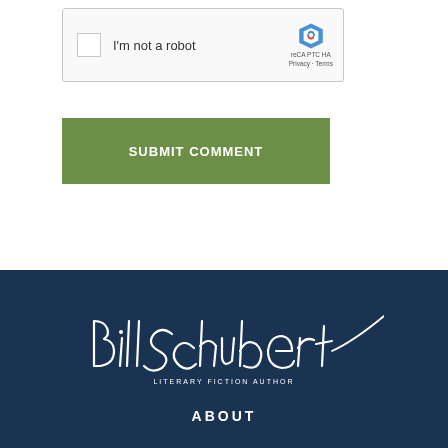[Figure (screenshot): reCAPTCHA widget with checkbox labeled 'I'm not a robot' and reCAPTCHA logo with 'Privacy - Terms' text]
[Figure (other): Green 'SUBMIT COMMENT' button]
[Figure (logo): Bill Schubert Literary Fiction Author signature logo in white on dark navy background]
ABOUT